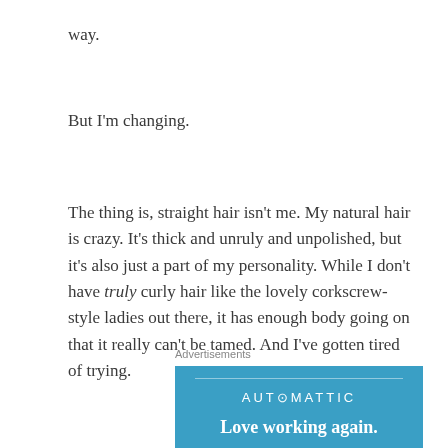way.
But I'm changing.
The thing is, straight hair isn't me. My natural hair is crazy. It's thick and unruly and unpolished, but it's also just a part of my personality. While I don't have truly curly hair like the lovely corkscrew-style ladies out there, it has enough body going on that it really can't be tamed. And I've gotten tired of trying.
Advertisements
[Figure (other): Advertisement banner for Automattic with blue background showing 'AUTOMATTIC' text and 'Love working again.' tagline]